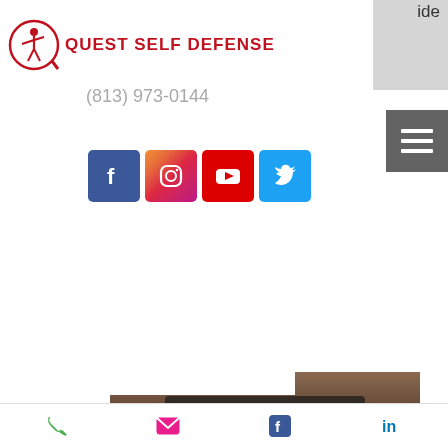[Figure (logo): Quest Self Defense logo with a red figure archer/martial arts icon and red bold text 'QUEST SELF DEFENSE']
ide
(813) 973-0144
[Figure (infographic): Social media icons: Facebook (blue), Instagram (gradient pink/purple), YouTube (red), Twitter (light blue)]
[Figure (photo): Photo of a person in a dark martial arts uniform leaning against a wall, with a blue bag visible]
[Figure (photo): Photo of an indoor room with people in dark uniforms, a clock on the wall, and windows]
[Figure (infographic): Bottom navigation bar with phone, email, Facebook, and LinkedIn icons]